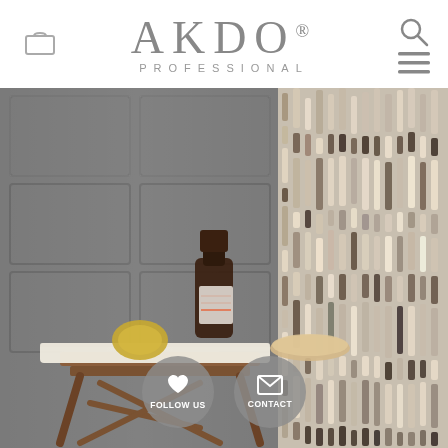[Figure (logo): AKDO Professional logo with cart icon on left and search/menu icons on right]
[Figure (photo): Bathroom scene with a wooden side table holding a dark amber bottle of soap, a yellow loofah sponge, and a bar of soap. The left wall has grey panel tiles. The right half shows a mosaic tile wall with vertical strips in beige and dark brown tones.]
FOLLOW US
CONTACT